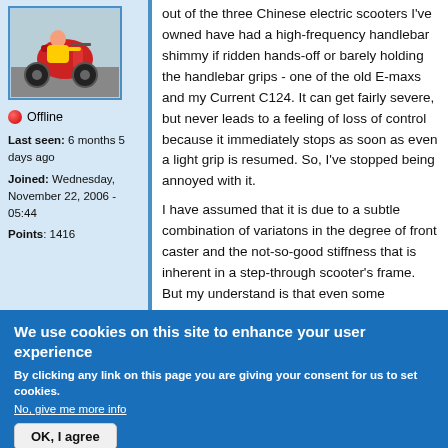[Figure (photo): Photo of a red electric scooter with a person riding it, shown from the front-left angle on a road.]
Offline
Last seen: 6 months 5 days ago
Joined: Wednesday, November 22, 2006 - 05:44
Points: 1416
out of the three Chinese electric scooters I've owned have had a high-frequency handlebar shimmy if ridden hands-off or barely holding the handlebar grips - one of the old E-maxs and my Current C124. It can get fairly severe, but never leads to a feeling of loss of control because it immediately stops as soon as even a light grip is resumed. So, I've stopped being annoyed with it.
I have assumed that it is due to a subtle combination of variatons in the degree of front caster and the not-so-good stiffness that is inherent in a step-through scooter's frame. But my understand is that even some expensive motorcycles in the past (old
We use cookies on this site to enhance your user experience
By clicking any link on this page you are giving your consent for us to set cookies.
No, give me more info
OK, I agree